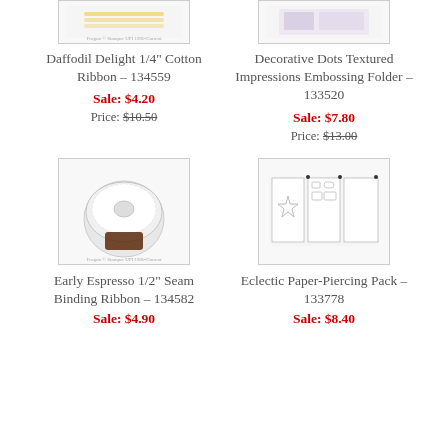[Figure (photo): Daffodil Delight 1/4 inch Cotton Ribbon product image]
Daffodil Delight 1/4" Cotton Ribbon – 134559
Sale: $4.20
Price: $10.50
[Figure (photo): Decorative Dots Textured Impressions Embossing Folder product image]
Decorative Dots Textured Impressions Embossing Folder – 133520
Sale: $7.80
Price: $13.00
[Figure (photo): Early Espresso 1/2 inch Seam Binding Ribbon product image showing a roll of ribbon]
Early Espresso 1/2" Seam Binding Ribbon – 134582
Sale: $4.90
[Figure (photo): Eclectic Paper-Piercing Pack product image showing template sheets with shapes]
Eclectic Paper-Piercing Pack – 133778
Sale: $8.40